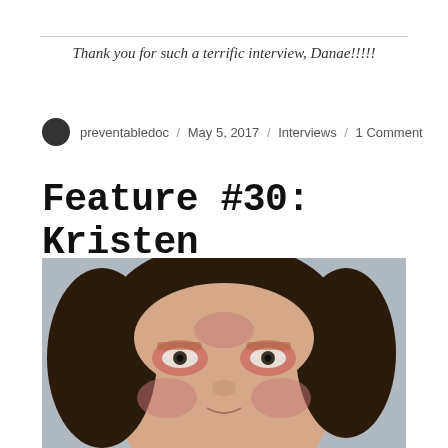Thank you for such a terrific interview, Danae!!!!!
preventabledoc / May 5, 2017 / Interviews / 1 Comment
Feature #30: Kristen
[Figure (photo): Close-up photo of a woman named Kristen with dark curly hair, facing the camera, showing redness and skin inflammation around her eyes and cheeks, against a grey background.]